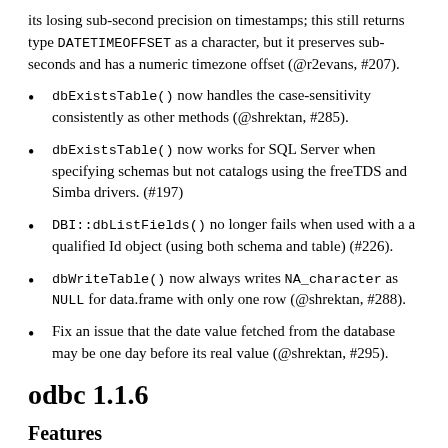its losing sub-second precision on timestamps; this still returns type DATETIMEOFFSET as a character, but it preserves sub-seconds and has a numeric timezone offset (@r2evans, #207).
dbExistsTable() now handles the case-sensitivity consistently as other methods (@shrektan, #285).
dbExistsTable() now works for SQL Server when specifying schemas but not catalogs using the freeTDS and Simba drivers. (#197)
DBI::dbListFields() no longer fails when used with a a qualified Id object (using both schema and table) (#226).
dbWriteTable() now always writes NA_character as NULL for data.frame with only one row (@shrektan, #288).
Fix an issue that the date value fetched from the database may be one day before its real value (@shrektan, #295).
odbc 1.1.6
Features